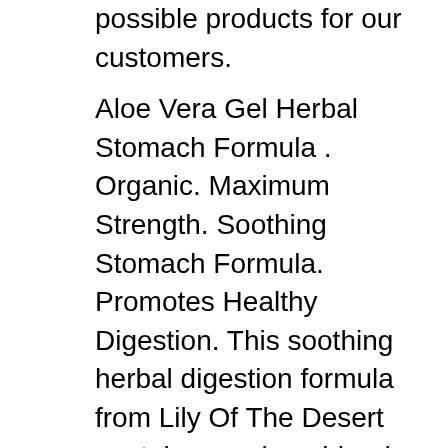possible products for our customers.
Aloe Vera Gel Herbal Stomach Formula . Organic. Maximum Strength. Soothing Stomach Formula. Promotes Healthy Digestion. This soothing herbal digestion formula from Lily Of The Desert contains a unique blend of the finest quality certified organic whole leaf and fillet aloe vera with select organically grown herbs specifically formulated to aid in digestion. Buy Lily Of The Desert Aloe Herbal Stomach Formula - 16 fl oz at the lowest price from eVitamins. Find Aloe Herbal Stomach Formula reviews, side effects, coupons and more from eVitamins. Fast Shipping to...